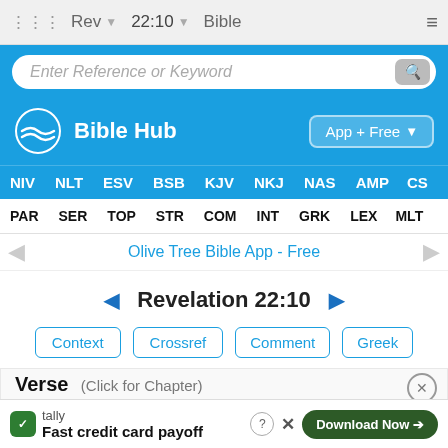Rev  22:10  Bible
Enter Reference or Keyword
Bible Hub  App + Free
NIV  NLT  ESV  BSB  KJV  NKJ  NAS  AMP  CS
PAR  SER  TOP  STR  COM  INT  GRK  LEX  MLT
Olive Tree Bible App - Free
◄ Revelation 22:10 ►
Context
Crossref
Comment
Greek
Verse (Click for Chapter)
New
Then
tally  Fast credit card payoff  Download Now →